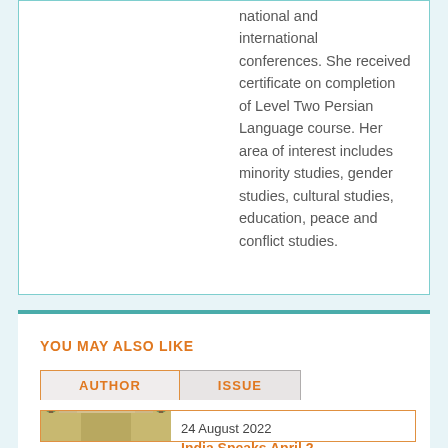national and international conferences. She received certificate on completion of Level Two Persian Language course. Her area of interest includes minority studies, gender studies, cultural studies, education, peace and conflict studies.
YOU MAY ALSO LIKE
AUTHOR
ISSUE
[Figure (photo): Photo of a government building complex with towers, likely Rashtrapati Bhavan or similar Indian landmark, under a clear sky]
24 August 2022
India Speaks April 2..
BILATERAL ISSUES
BAHRAIN Virtual Buyer